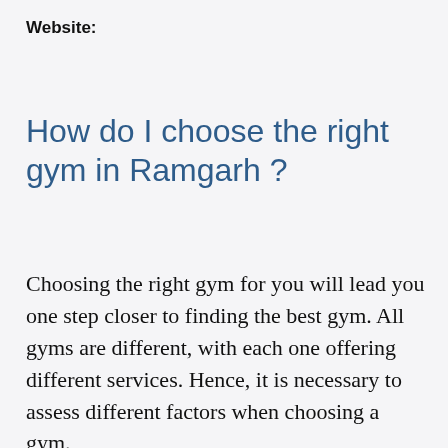Website:
How do I choose the right gym in Ramgarh ?
Choosing the right gym for you will lead you one step closer to finding the best gym. All gyms are different, with each one offering different services. Hence, it is necessary to assess different factors when choosing a gym.